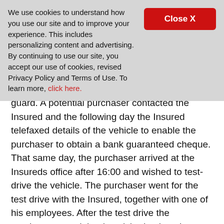We use cookies to understand how you use our site and to improve your experience. This includes personalizing content and advertising. By continuing to use our site, you accept our use of cookies, revised Privacy Policy and Terms of Use. To learn more, click here.
guard. A potential purchaser contacted the Insured and the following day the Insured telefaxed details of the vehicle to enable the purchaser to obtain a bank guaranteed cheque. That same day, the purchaser arrived at the Insureds office after 16:00 and wished to test-drive the vehicle. The purchaser went for the test drive with the Insured, together with one of his employees. After the test drive the purchaser stated that he wished to buy the vehicle. The purchaser had allegedly forgotten to bring the bank guaranteed cheque, but around 18:00 that same evening, the purchaser presented an envelope to the Insured. He opened it and half pulled out the cheque inside and then handed the purchaser the keys to the vehicle as well as the original documentation. About an hour later, the Insured examined the cheque more closely and, to his horror realised it was a possible fraudulent cheque because it appeared to be a photostat. The next day, the